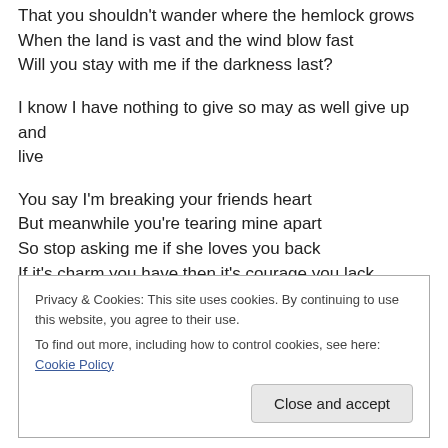That you shouldn't wander where the hemlock grows
When the land is vast and the wind blow fast
Will you stay with me if the darkness last?
I know I have nothing to give so may as well give up and live
You say I'm breaking your friends heart
But meanwhile you're tearing mine apart
So stop asking me if she loves you back
If it's charm you have then it's courage you lack
But I won't...
Privacy & Cookies: This site uses cookies. By continuing to use this website, you agree to their use.
To find out more, including how to control cookies, see here: Cookie Policy